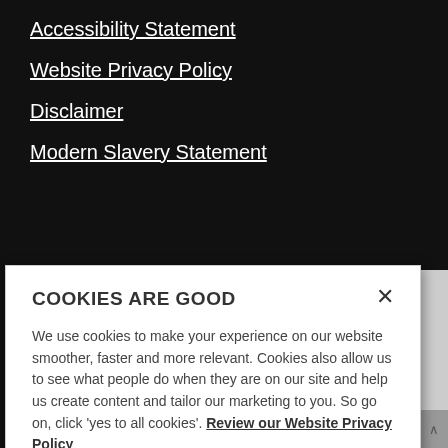Accessibility Statement
Website Privacy Policy
Disclaimer
Modern Slavery Statement
COOKIES ARE GOOD
We use cookies to make your experience on our website smoother, faster and more relevant. Cookies also allow us to see what people do when they are on our site and help us create content and tailor our marketing to you. So go on, click 'yes to all cookies'. Review our Website Privacy Policy
Yes to all cookies
Let me choose
Staff Portal